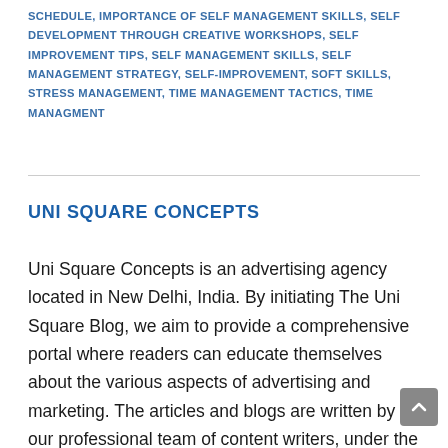SCHEDULE, IMPORTANCE OF SELF MANAGEMENT SKILLS, SELF DEVELOPMENT THROUGH CREATIVE WORKSHOPS, SELF IMPROVEMENT TIPS, SELF MANAGEMENT SKILLS, SELF MANAGEMENT STRATEGY, SELF-IMPROVEMENT, SOFT SKILLS, STRESS MANAGEMENT, TIME MANAGEMENT TACTICS, TIME MANAGMENT
UNI SQUARE CONCEPTS
Uni Square Concepts is an advertising agency located in New Delhi, India. By initiating The Uni Square Blog, we aim to provide a comprehensive portal where readers can educate themselves about the various aspects of advertising and marketing. The articles and blogs are written by our professional team of content writers, under the guidance of senior leaders of Uni Square Concepts including its CEO, Uday Sonthalia.